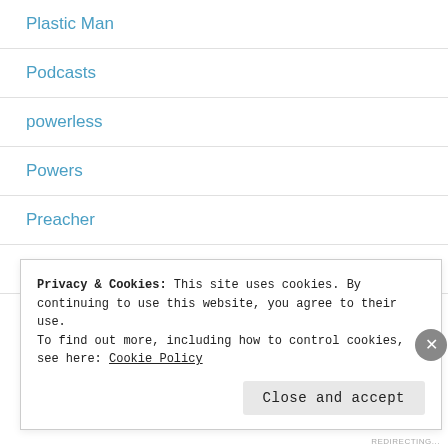Plastic Man
Podcasts
powerless
Powers
Preacher
punisher
Spider-Man and His Amazing Friends
Privacy & Cookies: This site uses cookies. By continuing to use this website, you agree to their use.
To find out more, including how to control cookies, see here: Cookie Policy
Close and accept